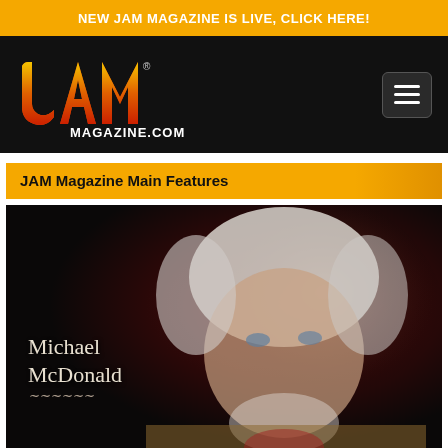NEW JAM MAGAZINE IS LIVE, CLICK HERE!
[Figure (logo): JAM Magazine.com logo with colored flame/letter design on black background, with hamburger menu icon top right]
JAM Magazine Main Features
[Figure (photo): Portrait photo of Michael McDonald, white-haired man with beard, with his name overlaid in serif text on a dark red/maroon background]